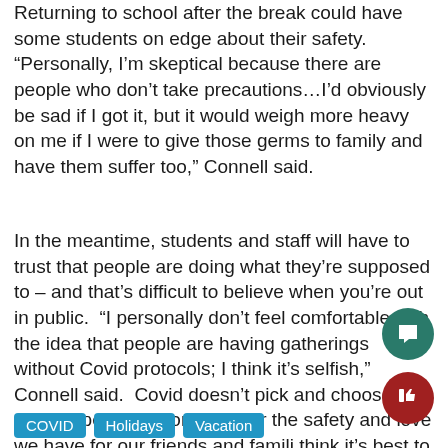Returning to school after the break could have some students on edge about their safety. “Personally, I’m skeptical because there are people who don’t take precautions…I’d obviously be sad if I got it, but it would weigh more heavy on me if I were to give those germs to family and have them suffer too,” Connell said.
In the meantime, students and staff will have to trust that people are doing what they’re supposed to – and that’s difficult to believe when you’re out in public. “I personally don’t feel comfortable with the idea that people are having gatherings without Covid protocols; I think it’s selfish,” Connell said. Covid doesn’t pick and choose, it can happen to anyone and for the safety and love we have for our friends and families I think it’s best to stay home and wear masks.”
COVID
Holidays
Vacation